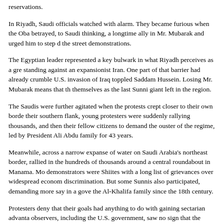reservations.
In Riyadh, Saudi officials watched with alarm. They became furious when the Oba betrayed, to Saudi thinking, a longtime ally in Mr. Mubarak and urged him to step d the street demonstrations.
The Egyptian leader represented a key bulwark in what Riyadh perceives as a gre standing against an expansionist Iran. One part of that barrier had already crumble U.S. invasion of Iraq toppled Saddam Hussein. Losing Mr. Mubarak means that th themselves as the last Sunni giant left in the region.
The Saudis were further agitated when the protests crept closer to their own borde their southern flank, young protesters were suddenly rallying thousands, and then their fellow citizens to demand the ouster of the regime, led by President Ali Abdu family for 43 years.
Meanwhile, across a narrow expanse of water on Saudi Arabia's northeast border, rallied in the hundreds of thousands around a central roundabout in Manama. Mo demonstrators were Shiites with a long list of grievances over widespread econom discrimination. But some Sunnis also participated, demanding more say in a gove the Al-Khalifa family since the 18th century.
Protesters deny that their goals had anything to do with gaining sectarian advanta observers, including the U.S. government, saw no sign that the protests were any